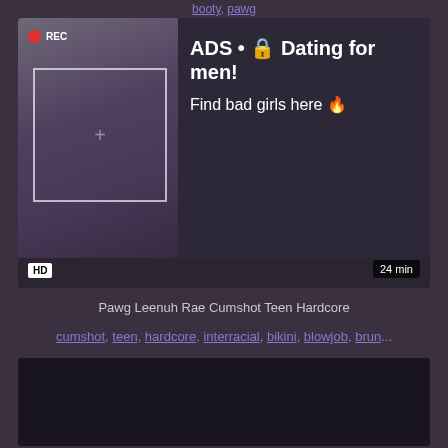booty, pawg
[Figure (screenshot): Video player with advertisement overlay showing a woman taking a selfie with REC badge, and ad text 'ADS • Dating for men! Find bad girls here', with HD badge and 24 min duration]
Pawg Leenuh Rae Cumshot Teen Hardcore
cumshot, teen, hardcore, interracial, bikini, blowjob, brun...
[Figure (screenshot): Bottom portion of another video thumbnail, dark/black]